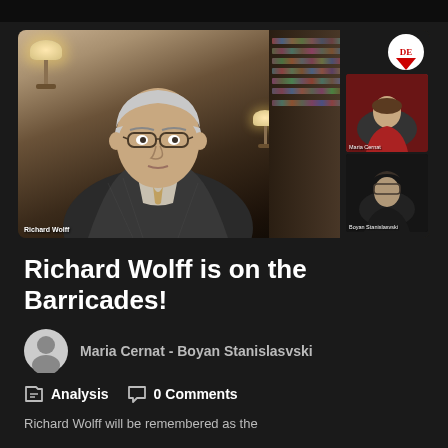[Figure (screenshot): Video call screenshot showing Richard Wolff (elderly man with glasses, grey hair, in a patterned jacket, sitting in a book-lined study) as the main participant, with two smaller thumbnail panels on the right showing Maria Cernat and Boyan Stanislasvski, and a DE logo circle in the top right corner.]
Richard Wolff is on the Barricades!
Maria Cernat - Boyan Stanislasvski
Analysis  0 Comments
Richard Wolff will be remembered as the